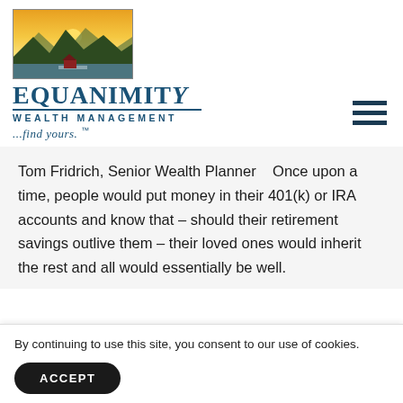[Figure (logo): Equanimity Wealth Management logo: landscape painting showing mountains, sunset sky in orange and yellow, dark green trees and a lake, with a small red cabin. Below the image: 'EQUANIMITY' in large serif bold blue letters, underlined; 'WEALTH MANAGEMENT' in smaller spaced blue caps; '...find yours. ™' in blue italic serif.]
Tom Fridrich, Senior Wealth Planner   Once upon a time, people would put money in their 401(k) or IRA accounts and know that – should their retirement savings outlive them – their loved ones would inherit the rest and all would essentially be well.
By continuing to use this site, you consent to our use of cookies.
ACCEPT